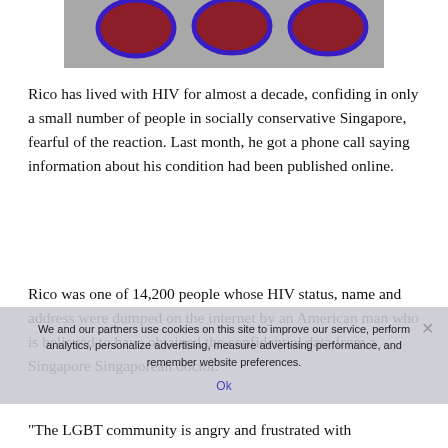[Figure (photo): Microscopic image showing HIV virus particles — dark red oval shapes with blue outlines on a grey background]
Rico has lived with HIV for almost a decade, confiding in only a small number of people in socially conservative Singapore, fearful of the reaction. Last month, he got a phone call saying information about his condition had been published online.
Rico was one of 14,200 people whose HIV status, name and address were dumped on the internet by an American man who is believed to have obtained the confidential data from a Singapore Singaporean doctor.
We and our partners use cookies on this site to improve our service, perform analytics, personalize advertising, measure advertising performance, and remember website preferences.
"The LGBT community is angry and frustrated with